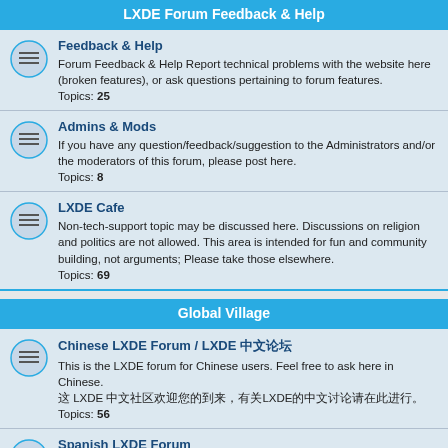LXDE Forum Feedback & Help
Feedback & Help
Forum Feedback & Help Report technical problems with the website here (broken features), or ask questions pertaining to forum features.
Topics: 25
Admins & Mods
If you have any question/feedback/suggestion to the Administrators and/or the moderators of this forum, please post here.
Topics: 8
LXDE Cafe
Non-tech-support topic may be discussed here. Discussions on religion and politics are not allowed. This area is intended for fun and community building, not arguments; Please take those elsewhere.
Topics: 69
Global Village
Chinese LXDE Forum / LXDE 中文论坛
This is the LXDE forum for Chinese users. Feel free to ask here in Chinese.
这 LXDE 中文社区欢迎您的到来，有关LXDE的中文讨论请在此进行。
Topics: 56
Spanish LXDE Forum
This is the LXDE Forum for Spanish Users - Feel Free to ask in Spanish
Topics: 12
German language LXDE Forum / Deutschsprachiges LXDE Forum
The German language LXDE Forum. Das deutschsprachige LXDE-Forum.
Moderator: maces.